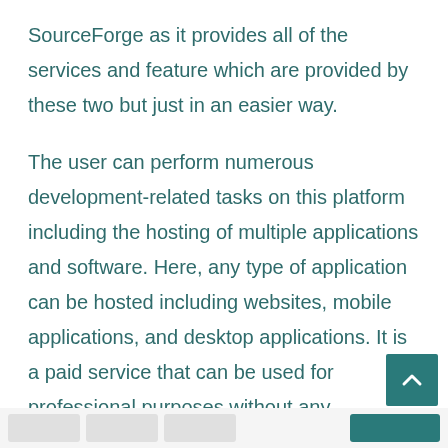SourceForge as it provides all of the services and feature which are provided by these two but just in an easier way.
The user can perform numerous development-related tasks on this platform including the hosting of multiple applications and software. Here, any type of application can be hosted including websites, mobile applications, and desktop applications. It is a paid service that can be used for professional purposes without any performance-related issue.